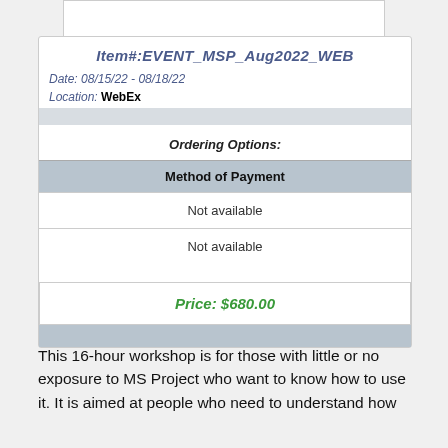Item#:EVENT_MSP_Aug2022_WEB
Date: 08/15/22 - 08/18/22
Location: WebEx
Ordering Options:
| Method of Payment |
| --- |
| Not available |
| Not available |
Price: $680.00
This 16-hour workshop is for those with little or no exposure to MS Project who want to know how to use it. It is aimed at people who need to understand how